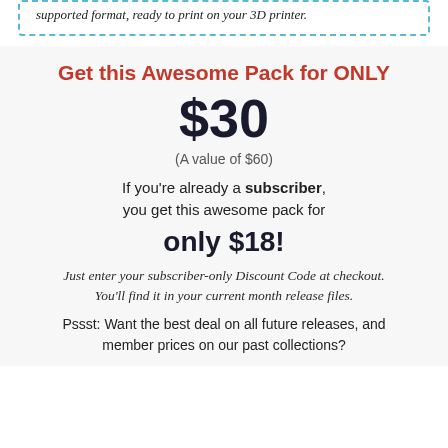supported format, ready to print on your 3D printer.
Get this Awesome Pack for ONLY
$30
(A value of $60)
If you're already a subscriber, you get this awesome pack for
only $18!
Just enter your subscriber-only Discount Code at checkout. You'll find it in your current month release files.
Pssst: Want the best deal on all future releases, and member prices on our past collections?